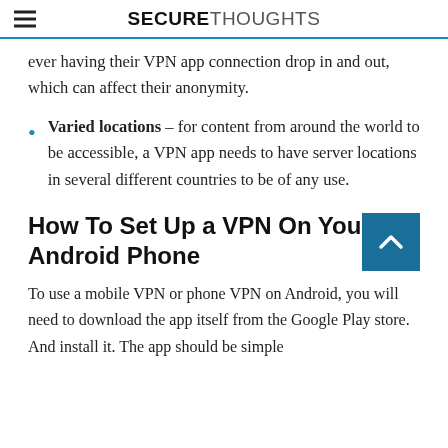SECURETHOUGHTS
ever having their VPN app connection drop in and out, which can affect their anonymity.
Varied locations – for content from around the world to be accessible, a VPN app needs to have server locations in several different countries to be of any use.
How To Set Up a VPN On Your Android Phone
To use a mobile VPN or phone VPN on Android, you will need to download the app itself from the Google Play store. And install it. The app should be simple...